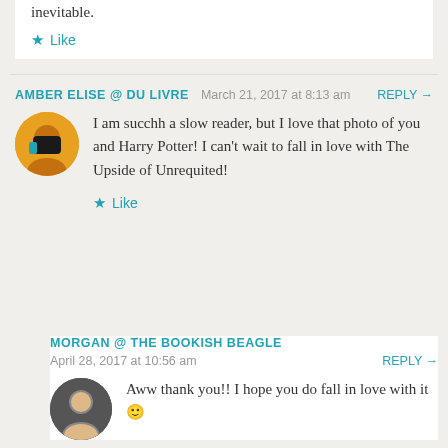inevitable.
★ Like
AMBER ELISE @ DU LIVRE   March 21, 2017 at 8:13 am   REPLY →
I am succhh a slow reader, but I love that photo of you and Harry Potter! I can't wait to fall in love with The Upside of Unrequited!
★ Like
MORGAN @ THE BOOKISH BEAGLE
April 28, 2017 at 10:56 am   REPLY →
Aww thank you!! I hope you do fall in love with it 🙂